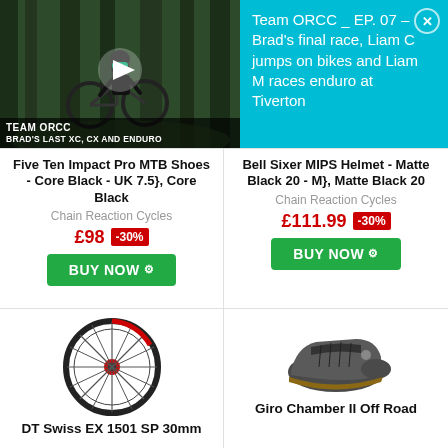[Figure (screenshot): Video thumbnail showing mountain bike rider on trail with Team ORCC branding overlay]
Team ORCC _ EP. 07 – Brad's final race, Liam C jumps on bikes and Liam M races enduro at Tiverton
Five Ten Impact Pro MTB Shoes - Core Black - UK 7.5}, Core Black
Chain Reaction Cycles
£98 -30%
BUY NOW
Bell Sixer MIPS Helmet - Matte Black 20 - M}, Matte Black 20
Chain Reaction Cycles
£111.99 -30%
BUY NOW
[Figure (photo): DT Swiss EX 1501 SP 30mm bicycle wheel product image]
[Figure (photo): Giro Chamber II Off Road cycling shoe product image]
DT Swiss EX 1501 SP 30mm
Giro Chamber II Off Road